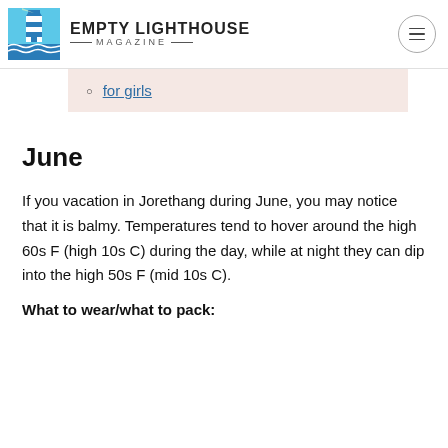EMPTY LIGHTHOUSE MAGAZINE
for girls
June
If you vacation in Jorethang during June, you may notice that it is balmy. Temperatures tend to hover around the high 60s F (high 10s C) during the day, while at night they can dip into the high 50s F (mid 10s C).
What to wear/what to pack: